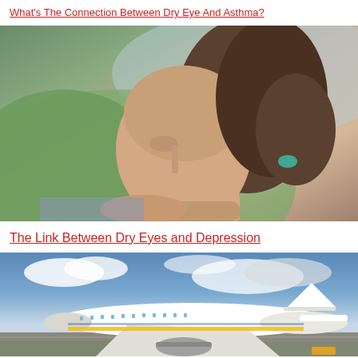What's The Connection Between Dry Eye And Asthma?
[Figure (photo): Woman resting her chin on her hands looking thoughtful, outdoors with green hills in background]
The Link Between Dry Eyes and Depression
[Figure (photo): Commercial airplane (Ryanair) on runway with cloudy sky]